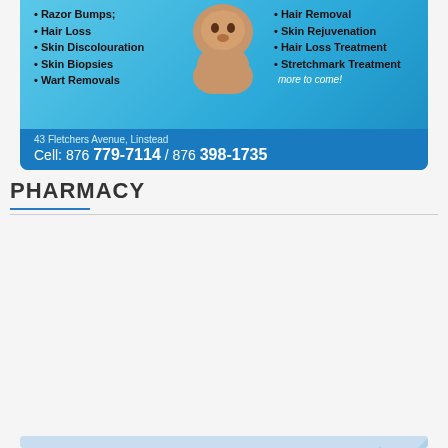[Figure (infographic): Medical/aesthetic clinic ad with blue gradient background showing services list: Razor Bumps, Hair Loss, Skin Discolouration, Skin Biopsies, Wart Removals on the left, and Hair Removal, Skin Rejuvenation, Hair Loss Treatment, Stretchmark Treatment on the right. Shows face photos. Address: 43 Fletchers Avenue, Linstead. Phone: Cell: 876 779-7114 / 876 398-1735]
PHARMACY
[Figure (infographic): Dixon's Drug Store advertisement. Logo with Rx symbol and mortar/pestle. Tagline: Your Community Pharmacy. Red box: We Are Still Offering THESE SERVICES. Blue box with checkmarks: Pharmacy, Western Union, Cambio, Bill Payments]